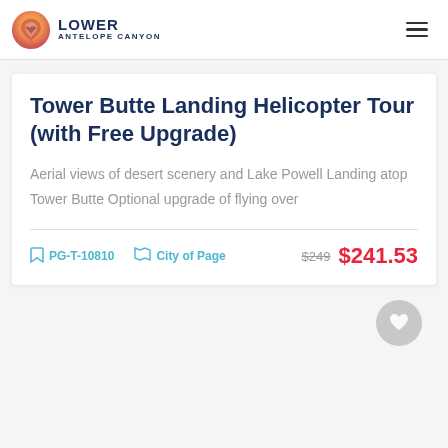Lower Antelope Canyon
Tower Butte Landing Helicopter Tour (with Free Upgrade)
Aerial views of desert scenery and Lake Powell Landing atop Tower Butte Optional upgrade of flying over
PG-T-10810  City of Page  $249  $241.53